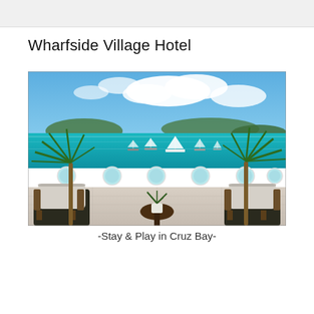Wharfside Village Hotel
[Figure (photo): Balcony view from Wharfside Village Hotel overlooking Cruz Bay harbor with sailboats on turquoise water, tropical palm plants flanking two wicker lounge chairs around a small round table, white balcony railing with circular porthole openings, islands visible in the background under a partly cloudy blue sky.]
-Stay & Play in Cruz Bay-